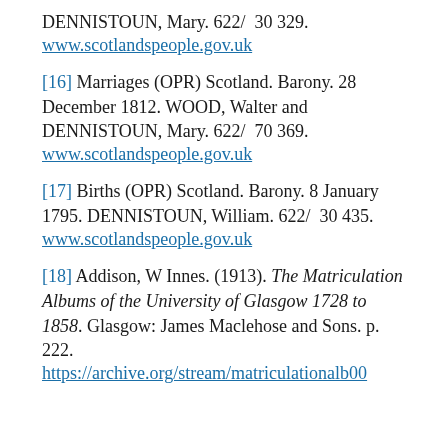DENNISTOUN, Mary. 622/  30 329.
www.scotlandspeople.gov.uk
[16] Marriages (OPR) Scotland. Barony. 28 December 1812. WOOD, Walter and DENNISTOUN, Mary. 622/  70 369.
www.scotlandspeople.gov.uk
[17] Births (OPR) Scotland. Barony. 8 January 1795. DENNISTOUN, William. 622/  30 435.
www.scotlandspeople.gov.uk
[18] Addison, W Innes. (1913). The Matriculation Albums of the University of Glasgow 1728 to 1858. Glasgow: James Maclehose and Sons. p. 222.
https://archive.org/stream/matriculationalb00